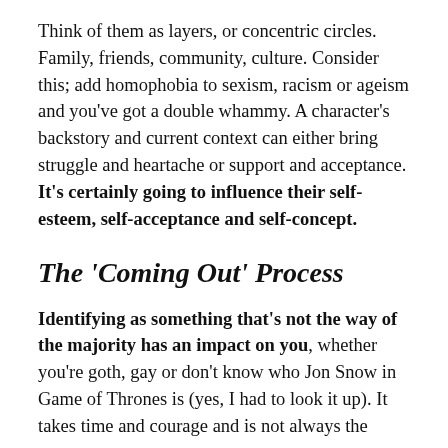Think of them as layers, or concentric circles. Family, friends, community, culture. Consider this; add homophobia to sexism, racism or ageism and you've got a double whammy. A character's backstory and current context can either bring struggle and heartache or support and acceptance. It's certainly going to influence their self-esteem, self-acceptance and self-concept.
The 'Coming Out' Process
Identifying as something that's not the way of the majority has an impact on you, whether you're goth, gay or don't know who Jon Snow in Game of Thrones is (yes, I had to look it up). It takes time and courage and is not always the...